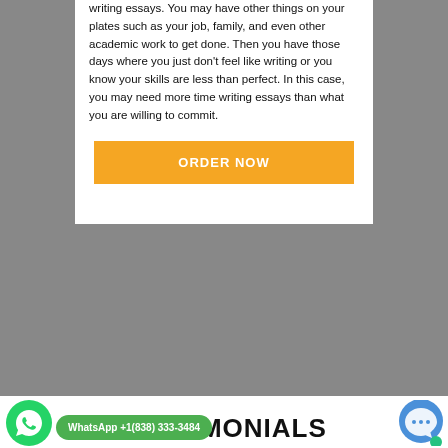writing essays. You may have other things on your plates such as your job, family, and even other academic work to get done. Then you have those days where you just don't feel like writing or you know your skills are less than perfect. In this case, you may need more time writing essays than what you are willing to commit.
[Figure (other): Orange 'ORDER NOW' button]
TESTIMONIALS
[Figure (other): WhatsApp icon (green circle with phone handset)]
[Figure (other): WhatsApp banner: 'WhatsApp +1(838) 333-3484']
[Figure (other): Blue chat/messenger icon]